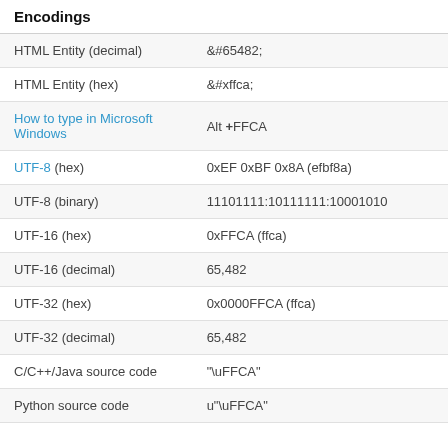| Encodings |  |
| --- | --- |
| HTML Entity (decimal) | &#65482; |
| HTML Entity (hex) | &#xffca; |
| How to type in Microsoft Windows | Alt +FFCA |
| UTF-8 (hex) | 0xEF 0xBF 0x8A (efbf8a) |
| UTF-8 (binary) | 11101111:10111111:10001010 |
| UTF-16 (hex) | 0xFFCA (ffca) |
| UTF-16 (decimal) | 65,482 |
| UTF-32 (hex) | 0x0000FFCA (ffca) |
| UTF-32 (decimal) | 65,482 |
| C/C++/Java source code | "\uFFCA" |
| Python source code | u"\uFFCA" |